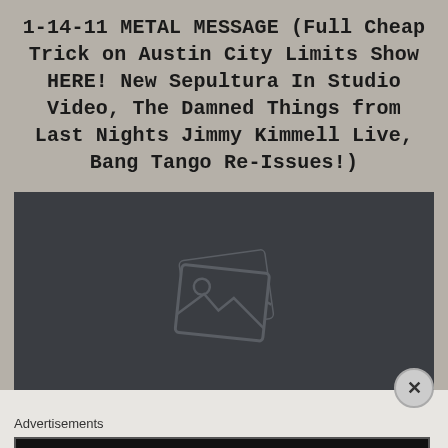1-14-11 METAL MESSAGE (Full Cheap Trick on Austin City Limits Show HERE! New Sepultura In Studio Video, The Damned Things from Last Nights Jimmy Kimmell Live, Bang Tango Re-Issues!)
[Figure (other): Dark video player placeholder with image/photo icon in the center. A close (X) button appears at the bottom right corner.]
Advertisements
[Figure (other): Advertisement banner for Longreads with red circular logo and text: Read anything great lately?]